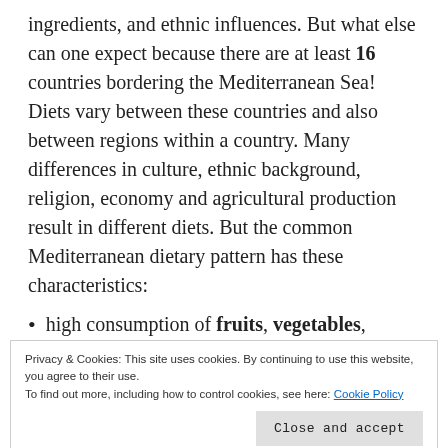ingredients, and ethnic influences. But what else can one expect because there are at least 16 countries bordering the Mediterranean Sea! Diets vary between these countries and also between regions within a country. Many differences in culture, ethnic background, religion, economy and agricultural production result in different diets. But the common Mediterranean dietary pattern has these characteristics:
high consumption of fruits, vegetables, bread and
Privacy & Cookies: This site uses cookies. By continuing to use this website, you agree to their use. To find out more, including how to control cookies, see here: Cookie Policy
nore and rich in nutrients that help to lower